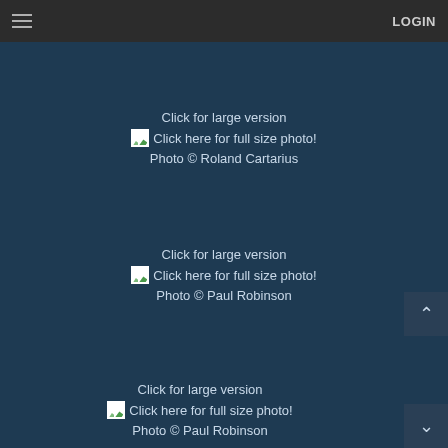≡  LOGIN
Click for large version
Click here for full size photo!
Photo © Roland Cartarius
Click for large version
Click here for full size photo!
Photo © Paul Robinson
Click for large version
Click here for full size photo!
Photo © Paul Robinson
Click for large version
Click here for full size photo!